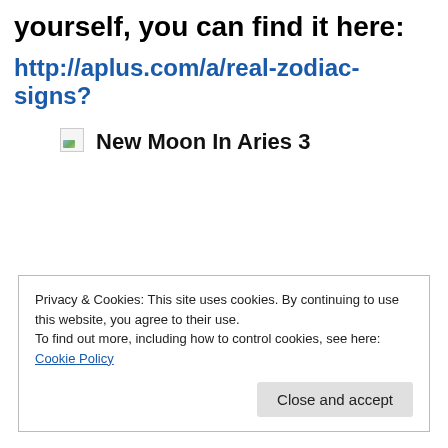yourself, you can find it here:
http://aplus.com/a/real-zodiac-signs?
[Figure (illustration): Broken image icon placeholder with small landscape thumbnail]
New Moon In Aries 3
Privacy & Cookies: This site uses cookies. By continuing to use this website, you agree to their use.
To find out more, including how to control cookies, see here: Cookie Policy